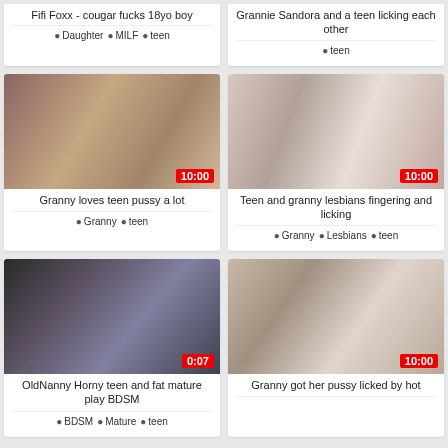Fifi Foxx - cougar fucks 18yo boy
Daughter  MILF  teen
Grannie Sandora and a teen licking each other
teen
[Figure (photo): Granny loves teen pussy a lot thumbnail, duration 10:00]
Granny loves teen pussy a lot
Granny  teen
[Figure (photo): Teen and granny lesbians fingering and licking thumbnail, duration 10:00]
Teen and granny lesbians fingering and licking
Granny  Lesbians  teen
[Figure (photo): OldNanny Horny teen and fat mature play BDSM thumbnail, duration 0:07]
OldNanny Horny teen and fat mature play BDSM
BDSM  Mature  teen
[Figure (photo): Granny got her pussy licked by hot teen thumbnail, duration 10:00]
Granny got her pussy licked by hot